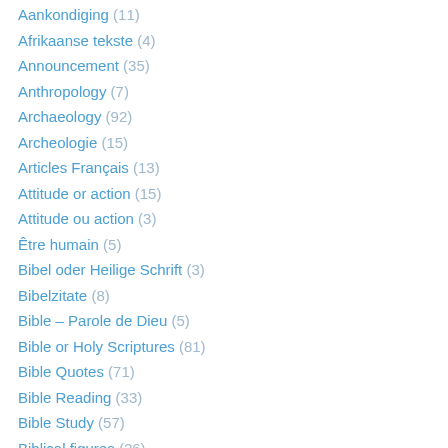Aankondiging (11)
Afrikaanse tekste (4)
Announcement (35)
Anthropology (7)
Archaeology (92)
Archeologie (15)
Articles Français (13)
Attitude or action (15)
Attitude ou action (3)
Être humain (5)
Bibel oder Heilige Schrift (3)
Bibelzitate (8)
Bible – Parole de Dieu (5)
Bible or Holy Scriptures (81)
Bible Quotes (71)
Bible Reading (33)
Bible Study (57)
Biblical figures (26)
Biblical places (29)
Bijbel Aanhalingen (45)